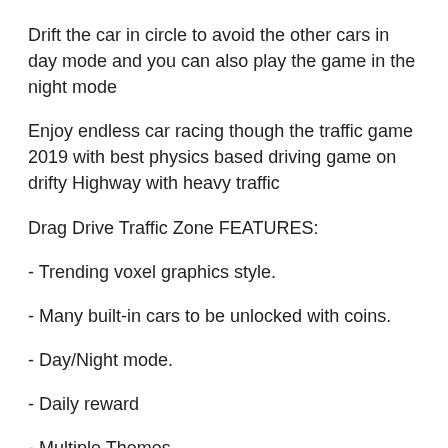Drift the car in circle to avoid the other cars in day mode and you can also play the game in the night mode
Enjoy endless car racing though the traffic game 2019 with best physics based driving game on drifty Highway with heavy traffic
Drag Drive Traffic Zone FEATURES:
- Trending voxel graphics style.
- Many built-in cars to be unlocked with coins.
- Day/Night mode.
- Daily reward
- Multiple Themes